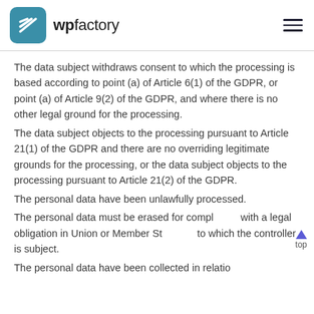wpfactory
The data subject withdraws consent to which the processing is based according to point (a) of Article 6(1) of the GDPR, or point (a) of Article 9(2) of the GDPR, and where there is no other legal ground for the processing.
The data subject objects to the processing pursuant to Article 21(1) of the GDPR and there are no overriding legitimate grounds for the processing, or the data subject objects to the processing pursuant to Article 21(2) of the GDPR.
The personal data have been unlawfully processed.
The personal data must be erased for compliance with a legal obligation in Union or Member State law to which the controller is subject.
The personal data have been collected in relation to...